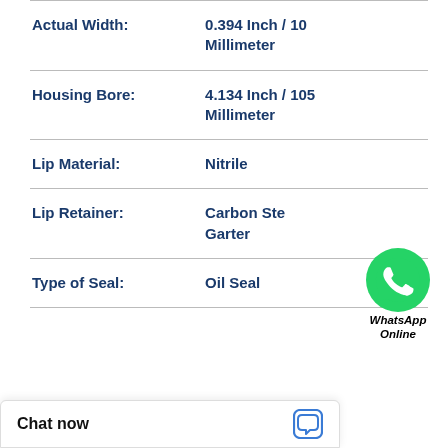| Property | Value |
| --- | --- |
| Actual Width: | 0.394 Inch / 10 Millimeter |
| Housing Bore: | 4.134 Inch / 105 Millimeter |
| Lip Material: | Nitrile |
| Lip Retainer: | Carbon Steel Garter |
| Type of Seal: | Oil Seal |
[Figure (logo): WhatsApp green circle logo with phone icon, labeled 'WhatsApp Online']
Download MS27595-013 B 11.56X14.25X1.24 PTFE Backup RingsPTFE Backup Spec Sheet
Chat now